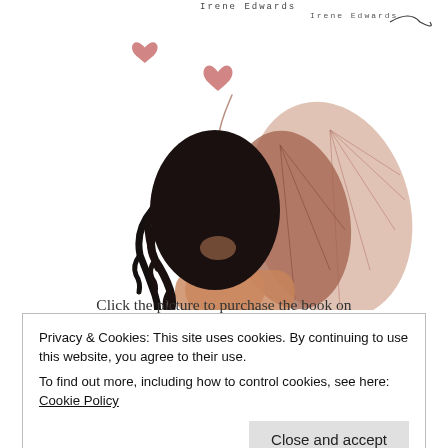[Figure (illustration): Illustration of a woman with curly black hair seen from behind, with butterfly wings in terracotta/salmon tones, a small pink heart and a decorative swirl above her head. Author signature 'Irene Edwards' in small monospace text at top.]
Click the picture to purchase the book on
Privacy & Cookies: This site uses cookies. By continuing to use this website, you agree to their use.
To find out more, including how to control cookies, see here: Cookie Policy
Close and accept